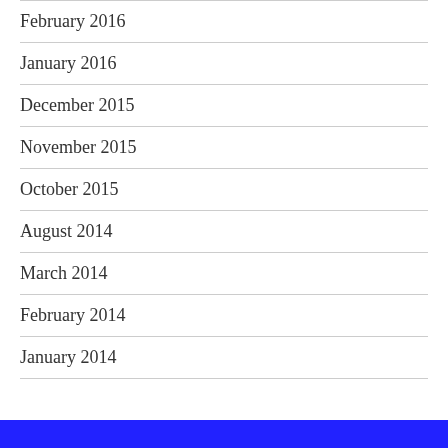February 2016
January 2016
December 2015
November 2015
October 2015
August 2014
March 2014
February 2014
January 2014